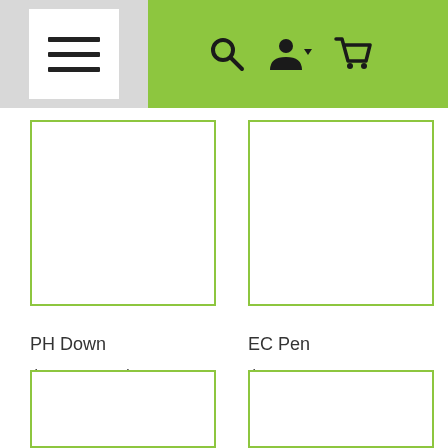[Figure (screenshot): Navigation header bar with hamburger menu icon on grey background, and search, account, and cart icons on green (#8dc63f) background]
PH Down
$10.00 – $30.00
EC Pen
$70.00
[Figure (other): Product image placeholder with yellow-green border, bottom-left]
[Figure (other): Product image placeholder with yellow-green border, bottom-right]